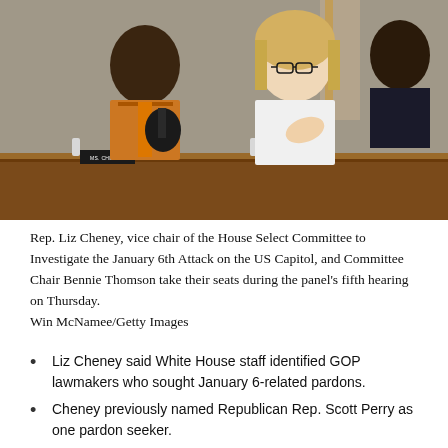[Figure (photo): Rep. Liz Cheney and Committee Chair Bennie Thomson seated at a hearing dais during the House Select Committee's fifth hearing on the January 6th attack. Name plaques reading 'MS. CHENEY' and 'MS. LOFGREN' are visible on the wooden podium.]
Rep. Liz Cheney, vice chair of the House Select Committee to Investigate the January 6th Attack on the US Capitol, and Committee Chair Bennie Thomson take their seats during the panel's fifth hearing on Thursday.
Win McNamee/Getty Images
Liz Cheney said White House staff identified GOP lawmakers who sought January 6-related pardons.
Cheney previously named Republican Rep. Scott Perry as one pardon seeker.